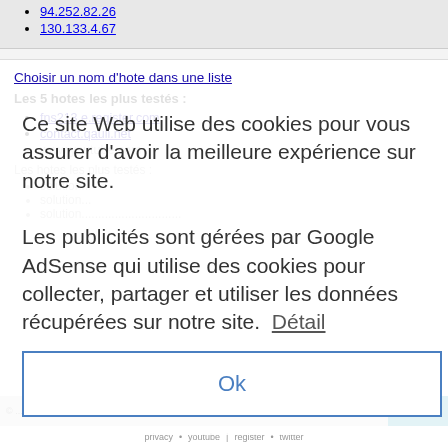94.252.82.26
130.133.4.67
Choisir un nom d'hote dans une liste
Les 5 hotes les plus testés :
fns213.e.register.com
contact.qauli.net
www.youtube.com
Ce site Web utilise des cookies pour vous assurer d'avoir la meilleure expérience sur notre site.
Les publicités sont gérées par Google AdSense qui utilise des cookies pour collecter, partager et utiliser les données récupérées sur notre site.  Détail
Ok
tous droits